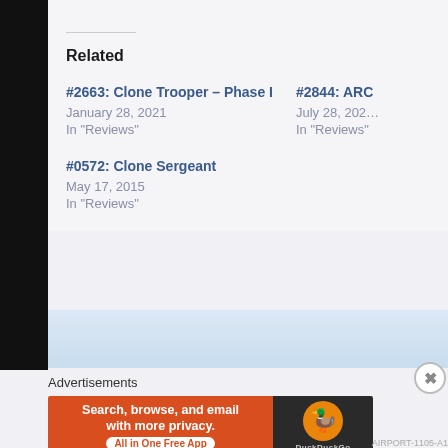Related
#2663: Clone Trooper – Phase I
January 28, 2021
In "Reviews"
#2844: ARC…
July 28, 202…
In "Reviews"
#0572: Clone Sergeant
May 17, 2015
In "Reviews"
Advertisements
[Figure (other): DuckDuckGo advertisement banner: 'Search, browse, and email with more privacy. All in One Free App' with DuckDuckGo duck logo on dark background]